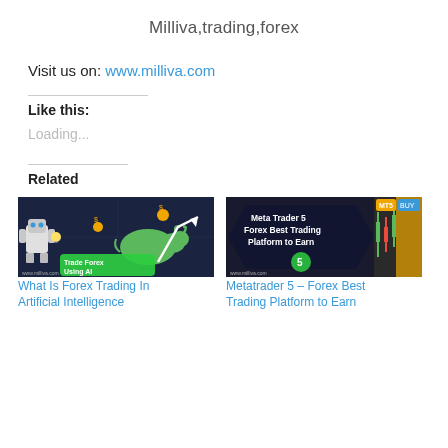Milliva,trading,forex
Visit us on: www.milliva.com
Like this:
Loading...
Related
[Figure (illustration): What Is Forex Trading In Artificial Intelligence banner showing a robot, bull, and trading chart with text 'Trade Forex Using AI']
What Is Forex Trading In Artificial Intelligence
[Figure (illustration): Metatrader 5 Forex Best Trading Platform to Earn banner showing dark background with text and a trading chart on mobile]
Metatrader 5 – Forex Best Trading Platform to Earn